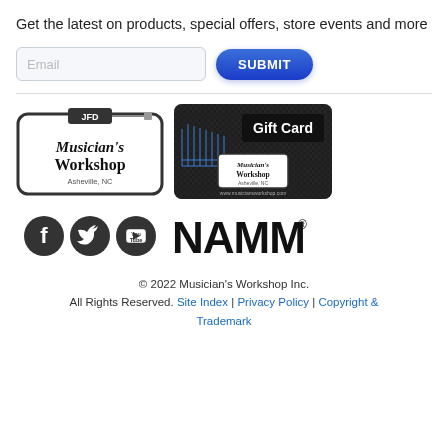Get the latest on products, special offers, store events and more
[Figure (screenshot): Email input field with placeholder 'Email' and a blue SUBMIT button]
[Figure (logo): Musician's Workshop Asheville NC store badge logo (white card with JFD plug graphic)]
[Figure (logo): Musician's Workshop Gift Card (dark carbon-fiber card with blue grid logo)]
[Figure (logo): Facebook icon (dark circle with white F)]
[Figure (logo): Twitter icon (dark circle with white bird)]
[Figure (logo): YouTube icon (dark circle with YouTube logo)]
[Figure (logo): NAMM logo in bold black text with registered trademark symbol]
© 2022 Musician's Workshop Inc. All Rights Reserved. Site Index | Privacy Policy | Copyright & Trademark